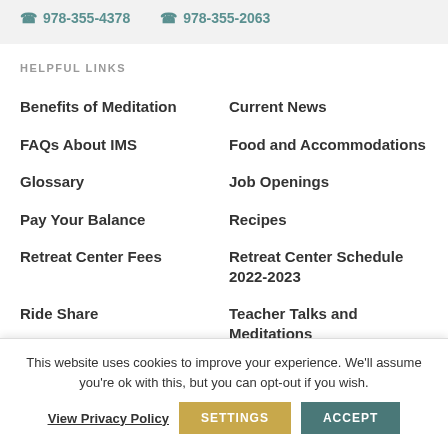978-355-4378   978-355-2063
HELPFUL LINKS
Benefits of Meditation
Current News
FAQs About IMS
Food and Accommodations
Glossary
Job Openings
Pay Your Balance
Recipes
Retreat Center Fees
Retreat Center Schedule 2022-2023
Ride Share
Teacher Talks and Meditations
This website uses cookies to improve your experience. We'll assume you're ok with this, but you can opt-out if you wish.
View Privacy Policy   SETTINGS   ACCEPT